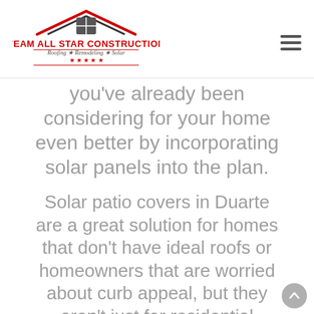[Figure (logo): Team All Star Construction logo with red roof/house icon, red text 'TEAM ALL STAR CONSTRUCTION', italic subtitle 'Roofing ★ Remodeling ★ Solar', red stars row, and red horizontal lines]
you've already been considering for your home even better by incorporating solar panels into the plan.
Solar patio covers in Duarte are a great solution for homes that don't have ideal roofs or homeowners that are worried about curb appeal, but they aren't just for residential